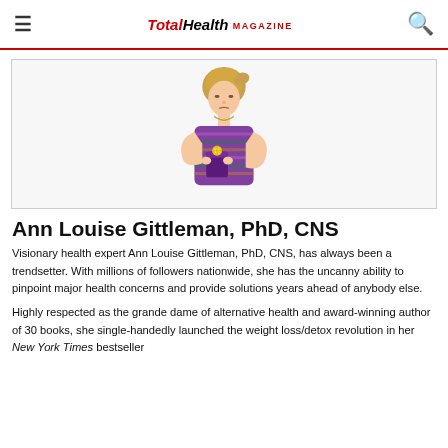TotalHealth MAGAZINE
[Figure (photo): Woman with short blonde hair holding a dark smoothie cup garnished with a lemon slice, wearing a colorful striped blouse]
Ann Louise Gittleman, PhD, CNS
Visionary health expert Ann Louise Gittleman, PhD, CNS, has always been a trendsetter. With millions of followers nationwide, she has the uncanny ability to pinpoint major health concerns and provide solutions years ahead of anybody else.
Highly respected as the grande dame of alternative health and award-winning author of 30 books, she single-handedly launched the weight loss/detox revolution in her New York Times bestseller